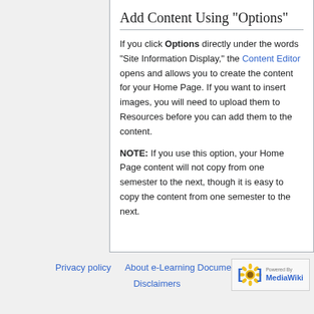Add Content Using "Options"
If you click Options directly under the words "Site Information Display," the Content Editor opens and allows you to create the content for your Home Page. If you want to insert images, you will need to upload them to Resources before you can add them to the content.
NOTE: If you use this option, your Home Page content will not copy from one semester to the next, though it is easy to copy the content from one semester to the next.
Privacy policy   About e-Learning Documentation   Disclaimers
[Figure (logo): Powered By MediaWiki badge with sunflower logo]